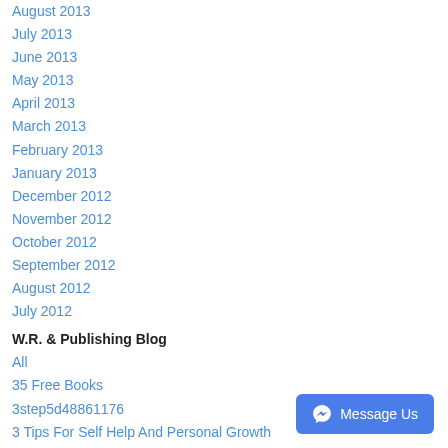August 2013
July 2013
June 2013
May 2013
April 2013
March 2013
February 2013
January 2013
December 2012
November 2012
October 2012
September 2012
August 2012
July 2012
W.R. & Publishing Blog
All
35 Free Books
3step5d48861176
3 Tips For Self Help And Personal Growth
5 Keys To Success